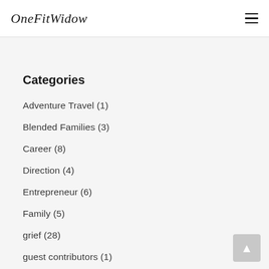OneFitWidow
Categories
Adventure Travel (1)
Blended Families (3)
Career (8)
Direction (4)
Entrepreneur (6)
Family (5)
grief (28)
guest contributors (1)